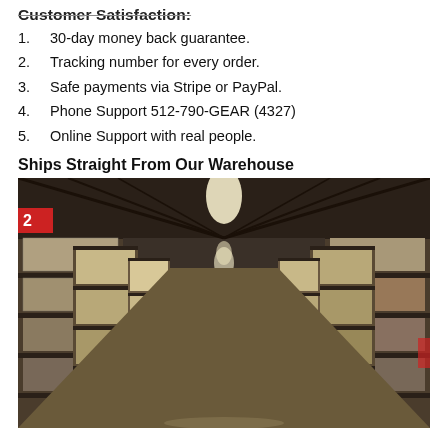Customer Satisfaction:
30-day money back guarantee.
Tracking number for every order.
Safe payments via Stripe or PayPal.
Phone Support 512-790-GEAR (4327)
Online Support with real people.
Ships Straight From Our Warehouse
[Figure (photo): Interior of a large warehouse with tall metal shelving racks filled with boxed goods and pallets, viewed from a center aisle perspective with overhead skylights illuminating the space.]